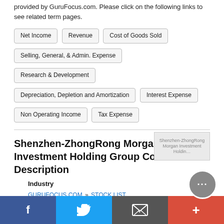provided by GuruFocus.com. Please click on the following links to see related term pages.
Net Income
Revenue
Cost of Goods Sold
Selling, General, & Admin. Expense
Research & Development
Depreciation, Depletion and Amortization
Interest Expense
Non Operating Income
Tax Expense
Shenzhen-ZhongRong Morgan Investment Holding Group Co Business Description
Industry
GURUFOCUS.COM » STOCK LIST » Financial Services » Diversified Financial
[Figure (screenshot): Shenzhen-ZhongRong Morgan Investment Holding logo/image placeholder]
Facebook | Twitter | Email | Plus